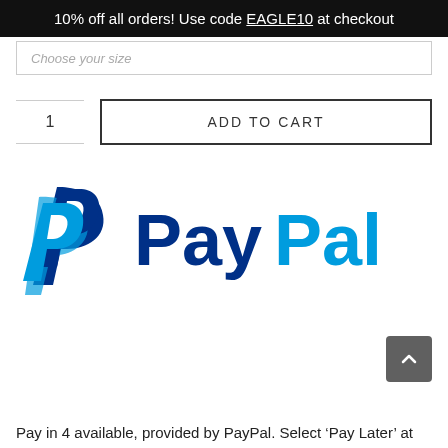10% off all orders! Use code EAGLE10 at checkout
Choose your size
1
ADD TO CART
[Figure (logo): PayPal logo with double-P icon in blue and teal, and 'PayPal' wordmark in dark blue and light blue]
Pay in 4 available, provided by PayPal. Select ‘Pay Later’ at